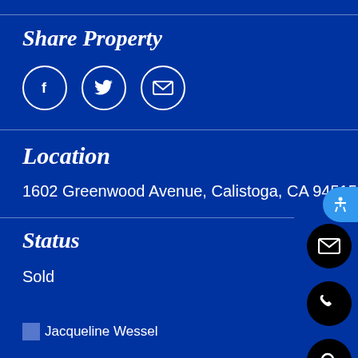Share Property
[Figure (infographic): Three social sharing icons in white circles: Facebook (f), Twitter (bird), and Email (envelope) on blue background]
Location
1602 Greenwood Avenue, Calistoga, CA 94515
Status
Sold
[Figure (infographic): Three black circular floating action buttons on right side: email envelope, phone, and search/magnifying glass icons]
Jacqueline Wessel